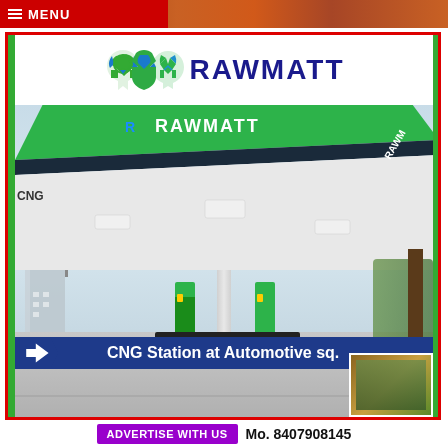MENU
[Figure (photo): Advertisement for Rawmatt CNG Station at Automotive sq. showing a large white canopy gas station structure with Rawmatt branding on it, with a blue banner overlay reading 'CNG Station at Automotive sq.']
ADVERTISE WITH US   Mo. 8407908145